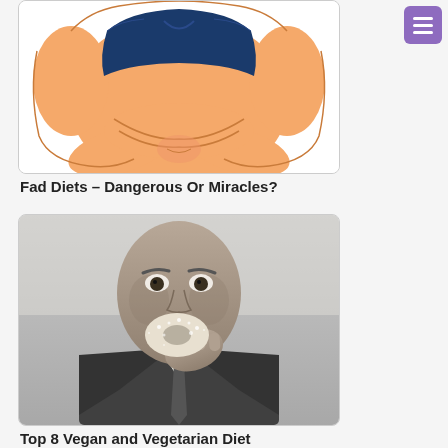[Figure (illustration): Illustration of an overweight person's torso wearing a blue sports bra/crop top, with hands on sides showing belly fat rolls]
Fad Diets – Dangerous Or Miracles?
[Figure (photo): Close-up photo of a man in a suit and tie eating a white powdered donut, looking intense, black and white/desaturated tones]
Top 8 Vegan and Vegetarian Diet